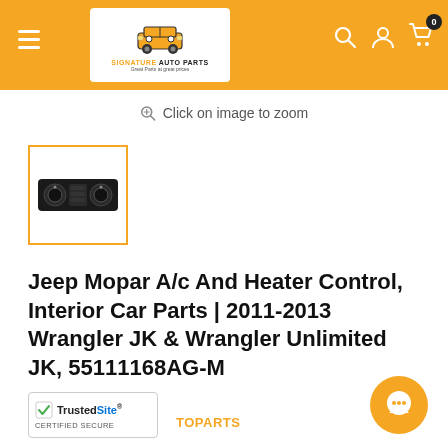Signature Auto Parts — Great Parts at great prices
Click on image to zoom
[Figure (photo): Thumbnail photo of a Jeep Mopar A/C and Heater Control panel, black, with two circular knobs]
Jeep Mopar A/c And Heater Control, Interior Car Parts | 2011-2013 Wrangler JK & Wrangler Unlimited JK, 55111168AG-M
[Figure (logo): TrustedSite Certified Secure badge]
TOPARTS